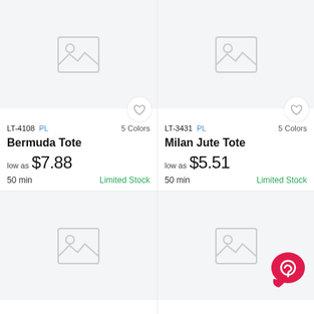[Figure (other): Product image placeholder for Bermuda Tote (LT-4108), grey image placeholder icon on light grey background]
LT-4108 PL   5 Colors
Bermuda Tote
low as $7.88
50 min   Limited Stock
[Figure (other): Product image placeholder for Milan Jute Tote (LT-3431), grey image placeholder icon on light grey background]
LT-3431 PL   5 Colors
Milan Jute Tote
low as $5.51
50 min   Limited Stock
[Figure (other): Product image placeholder (bottom left card), grey image placeholder icon on light grey background]
[Figure (other): Product image placeholder (bottom right card), grey image placeholder icon on light grey background with chat widget overlay]